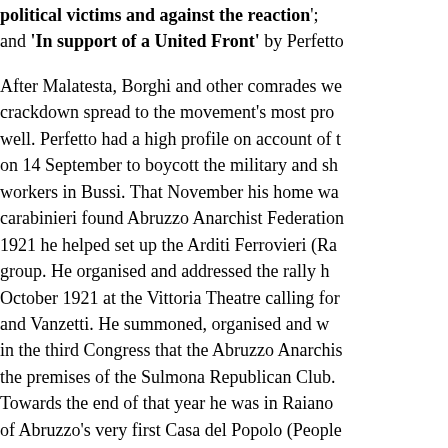political victims and against the reaction; and 'In support of a United Front' by Perfetto had a high profile on account of his call on 14 September to boycott the military and show solidarity with workers in Bussi. That November his home was raided and the carabinieri found Abruzzo Anarchist Federation material. In 1921 he helped set up the Arditi Ferrovieri (Railway Daredevils) group. He organised and addressed the rally held in Rome in October 1921 at the Vittoria Theatre calling for Sacco and Vanzetti. He summoned, organised and was a leading participant in the third Congress that the Abruzzo Anarchist Federation held at the premises of the Sulmona Republican Club. Towards the end of that year he was in Raiano overseeing the launch of Abruzzo's very first Casa del Popolo (People's House), the realisation of Umberto Postiglione's dream. As a member of the 'Liberi' group he took part in the third Italian Ana